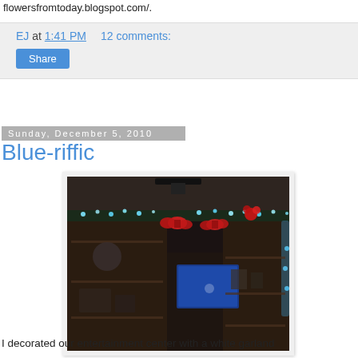flowersfromtoday.blogspot.com/.
EJ at 1:41 PM   12 comments:
Share
Sunday, December 5, 2010
Blue-riffic
[Figure (photo): Dark photo of an entertainment center decorated with white/blue garland lights and red bows on top of wooden shelving unit with a TV showing a blue screen.]
I decorated our entertainment center with a white garland